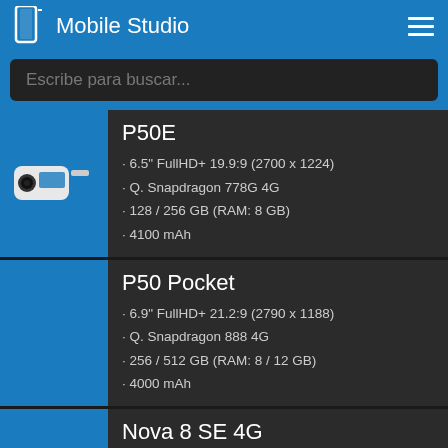Mobile Studio
Escribe para buscar...
P50E
6.5" FullHD+ 19.9:9 (2700 x 1224)
Q. Snapdragon 778G 4G
128 / 256 GB (RAM: 8 GB)
4100 mAh
P50 Pocket
6.9" FullHD+ 21.2:9 (2790 x 1188)
Q. Snapdragon 888 4G
256 / 512 GB (RAM: 8 / 12 GB)
4000 mAh
Nova 8 SE 4G
6.5" FullHD 20:9 (2400 x 1080)
HiSilicon Kirin 710A
128 GB (RAM: 8 GB)
3800 mAh